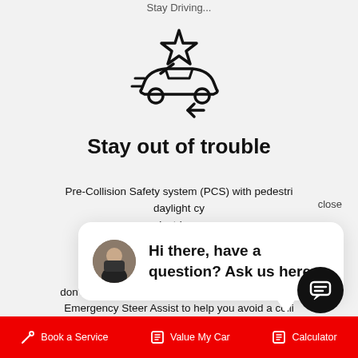Stay Driving...
[Figure (illustration): Icon of a car with a star and an arrow indicating collision avoidance / safety system]
Stay out of trouble
Pre-Collision Safety system (PCS) with pedestri... daylight cy... pedestrians an... or reduce the i... and visual a... needed. It can ... don't. In some scenarios the LandCruiser 300 can ... Emergency Steer Assist to help you avoid a colli... keep you in your lane once collision avoidance h...
close
[Figure (illustration): Chat bubble popup with avatar photo and text: Hi there, have a question? Ask us here.]
Hi there, have a question? Ask us here.
[Figure (illustration): Round dark chat icon button]
Book a Service   Value My Car   Calculator